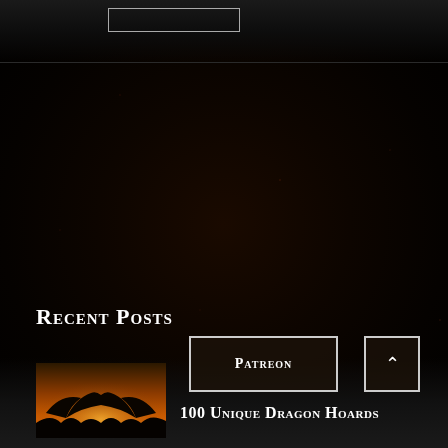[Figure (screenshot): Dark fantasy website screenshot with near-black background, subtle reddish particle dust effect, top navigation bar with search input box]
Recent Posts
[Figure (illustration): Small thumbnail image showing a dragon or winged creature silhouette against a warm orange/golden sky]
100 Unique Dragon Hoards
Patreon